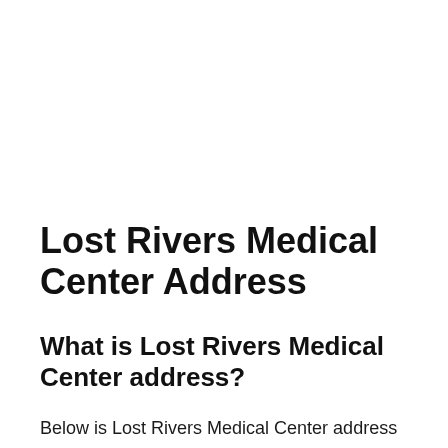Lost Rivers Medical Center Address
What is Lost Rivers Medical Center address?
Below is Lost Rivers Medical Center address where you can visit or send official mail,